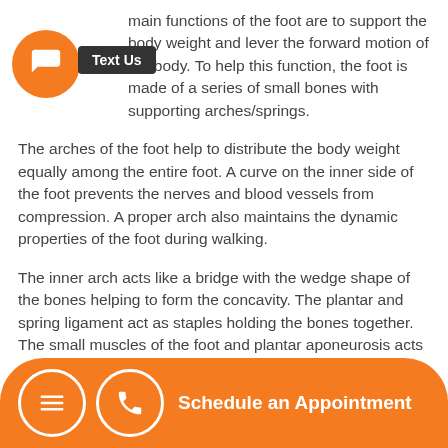...main functions of the foot are to support the body weight and lever the forward motion of the body. To help this function, the foot is made of a series of small bones with supporting arches/springs.
The arches of the foot help to distribute the body weight equally among the entire foot. A curve on the inner side of the foot prevents the nerves and blood vessels from compression. A proper arch also maintains the dynamic properties of the foot during walking.
The inner arch acts like a bridge with the wedge shape of the bones helping to form the concavity. The plantar and spring ligament act as staples holding the bones together. The small muscles of the foot and plantar aponeurosis acts as a tie...